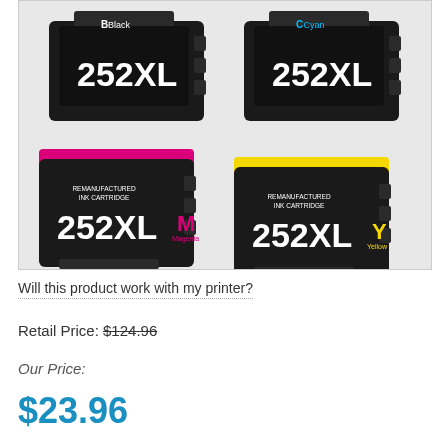[Figure (photo): Four 252XL remanufactured ink cartridges: black, cyan, magenta, and yellow, arranged on a white background. Each cartridge is black plastic with colored accents and labeled '252XL' in large white text and 'REMANUFACTURED INK CARTRIDGE' in smaller text.]
Will this product work with my printer?
Retail Price: $124.96
Our Price:
$23.96